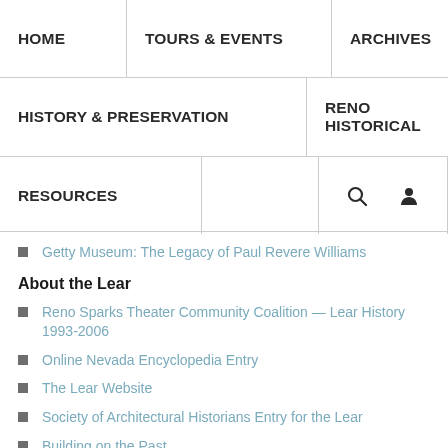HOME | TOURS & EVENTS | ARCHIVES | HISTORY & PRESERVATION | RENO HISTORICAL | RESOURCES
Getty Museum: The Legacy of Paul Revere Williams
About the Lear
Reno Sparks Theater Community Coalition — Lear History 1993-2006
Online Nevada Encyclopedia Entry
The Lear Website
Society of Architectural Historians Entry for the Lear
Building on the Past